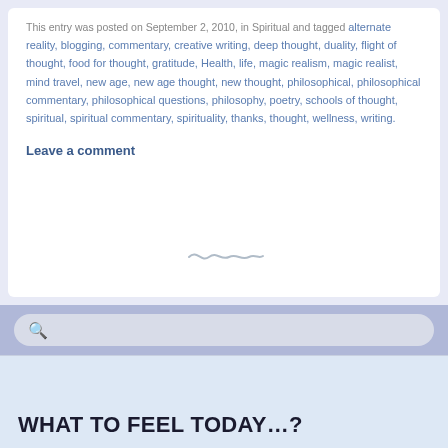This entry was posted on September 2, 2010, in Spiritual and tagged alternate reality, blogging, commentary, creative writing, deep thought, duality, flight of thought, food for thought, gratitude, Health, life, magic realism, magic realist, mind travel, new age, new age thought, new thought, philosophical, philosophical commentary, philosophical questions, philosophy, poetry, schools of thought, spiritual, spiritual commentary, spirituality, thanks, thought, wellness, writing.
Leave a comment
[Figure (illustration): Decorative tilde/swirl divider symbol in light gray-blue]
[Figure (screenshot): Search bar with magnifying glass icon on a medium blue-purple background]
WHAT TO FEEL TODAY…?